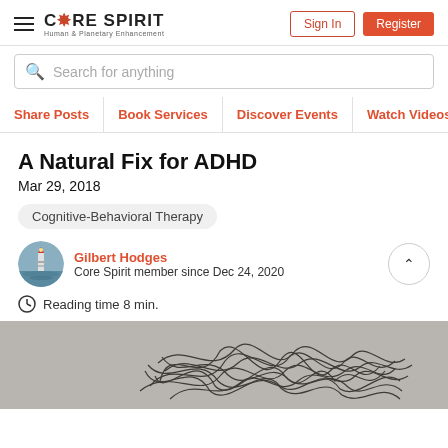CORE SPIRIT — Human & Planetary Enhancement | Sign In | Register
Search for anything
Share Posts | Book Services | Discover Events | Watch Videos
A Natural Fix for ADHD
Mar 29, 2018
Cognitive-Behavioral Therapy
Gilbert Hodges
Core Spirit member since Dec 24, 2020
Reading time 8 min.
[Figure (photo): Dark tangled chaotic scribble/knot illustration over grey background, representing mental chaos or ADHD]